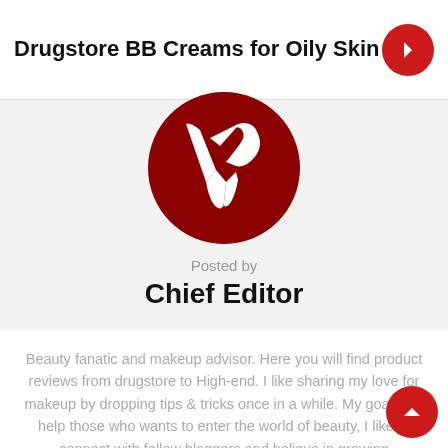Drugstore BB Creams for Oily Skin
[Figure (logo): Red circular logo with white stylized V letter mark]
Posted by
Chief Editor
Beauty fanatic and makeup advisor. Here you will find product reviews from drugstore to High-end. I like sharing my love for makeup by dropping tips & tricks once in a while. My goal is to help those who wants to enter the world of beauty, I like to connect with fellow bloggers and believe in growing